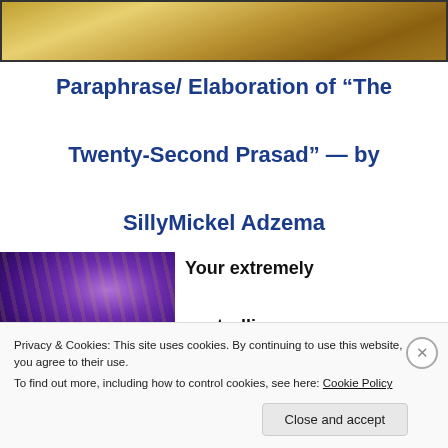[Figure (photo): Top decorative image with golden/bronze tones]
Paraphrase/ Elaboration of “The Twenty-Second Prasad” — by SillyMickel Adzema
[Figure (photo): Purple and golden swirling abstract image on the left side]
Your extremely controlling
Privacy & Cookies: This site uses cookies. By continuing to use this website, you agree to their use.
To find out more, including how to control cookies, see here: Cookie Policy
Close and accept